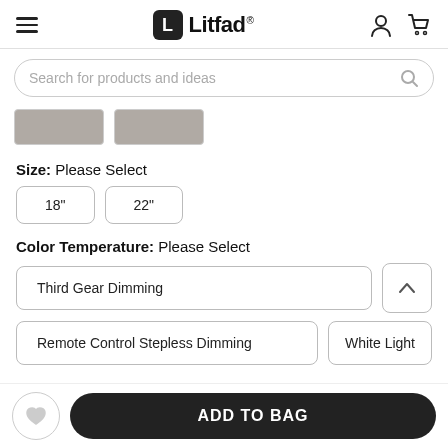Litfad
Search for products and ideas
[Figure (photo): Two product thumbnail images (gray placeholder images)]
Size: Please Select
18"
22"
Color Temperature: Please Select
Third Gear Dimming
Remote Control Stepless Dimming
White Light
ADD TO BAG